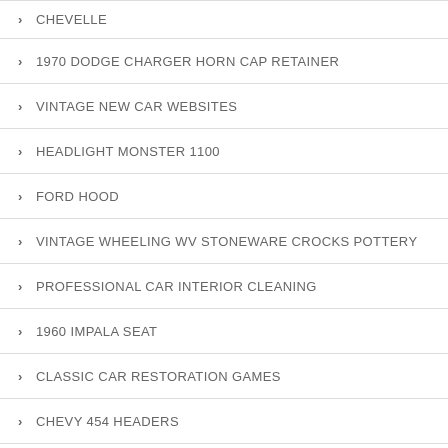CHEVELLE
1970 DODGE CHARGER HORN CAP RETAINER
VINTAGE NEW CAR WEBSITES
HEADLIGHT MONSTER 1100
FORD HOOD
VINTAGE WHEELING WV STONEWARE CROCKS POTTERY
PROFESSIONAL CAR INTERIOR CLEANING
1960 IMPALA SEAT
CLASSIC CAR RESTORATION GAMES
CHEVY 454 HEADERS